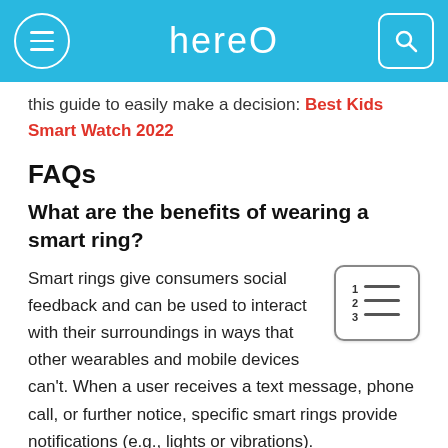hereO
this guide to easily make a decision: Best Kids Smart Watch 2022
FAQs
What are the benefits of wearing a smart ring?
Smart rings give consumers social feedback and can be used to interact with their surroundings in ways that other wearables and mobile devices can't. When a user receives a text message, phone call, or further notice, specific smart rings provide notifications (e.g., lights or vibrations).